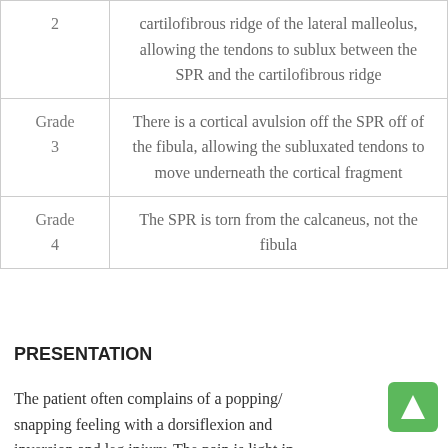| Grade | Description |
| --- | --- |
| 2 | cartilofibrous ridge of the lateral malleolus, allowing the tendons to sublux between the SPR and the cartilofibrous ridge |
| Grade 3 | There is a cortical avulsion off the SPR off of the fibula, allowing the subluxated tendons to move underneath the cortical fragment |
| Grade 4 | The SPR is torn from the calcaneus, not the fibula |
PRESENTATION
The patient often complains of a popping/ snapping feeling with a dorsiflexion and inversion and leg injury. The pain is light in...